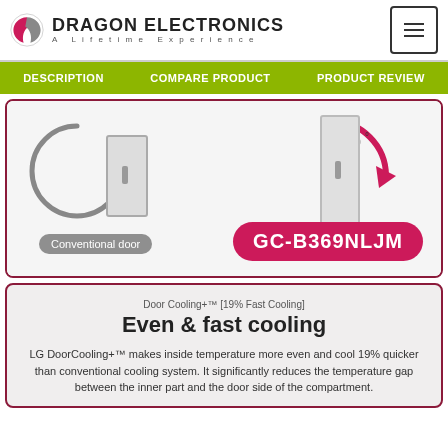DRAGON ELECTRONICS — A Lifetime Experience
DESCRIPTION | COMPARE PRODUCT | PRODUCT REVIEW
[Figure (photo): Product comparison diagram showing conventional door vs GC-B369NLJM door with 90 degree arrow and model badge]
Conventional door
GC-B369NLJM
Door Cooling+™ [19% Fast Cooling]
Even & fast cooling
LG DoorCooling+™ makes inside temperature more even and cool 19% quicker than conventional cooling system. It significantly reduces the temperature gap between the inner part and the door side of the compartment.